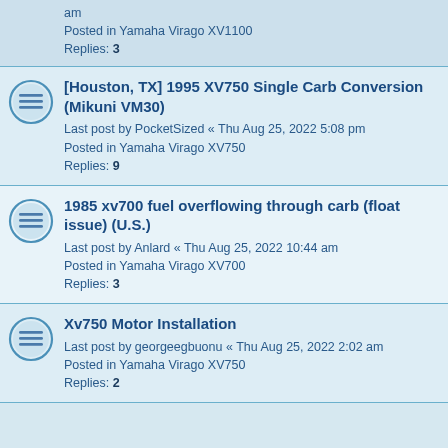am
Posted in Yamaha Virago XV1100
Replies: 3
[Houston, TX] 1995 XV750 Single Carb Conversion (Mikuni VM30)
Last post by PocketSized « Thu Aug 25, 2022 5:08 pm
Posted in Yamaha Virago XV750
Replies: 9
1985 xv700 fuel overflowing through carb (float issue) (U.S.)
Last post by Anlard « Thu Aug 25, 2022 10:44 am
Posted in Yamaha Virago XV700
Replies: 3
Xv750 Motor Installation
Last post by georgeegbuonu « Thu Aug 25, 2022 2:02 am
Posted in Yamaha Virago XV750
Replies: 2